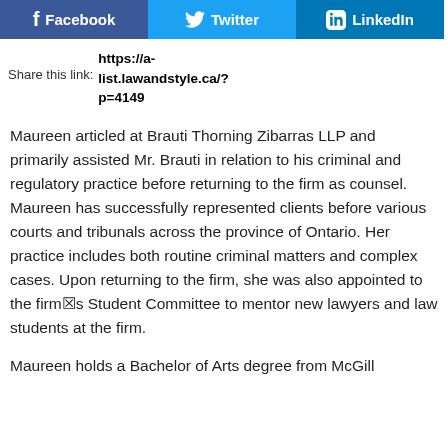[Figure (other): Social media share buttons for Facebook, Twitter, and LinkedIn]
Share this link: https://a-list.lawandstyle.ca/?p=4149
Maureen articled at Brauti Thorning Zibarras LLP and primarily assisted Mr. Brauti in relation to his criminal and regulatory practice before returning to the firm as counsel. Maureen has successfully represented clients before various courts and tribunals across the province of Ontario. Her practice includes both routine criminal matters and complex cases. Upon returning to the firm, she was also appointed to the firm✗s Student Committee to mentor new lawyers and law students at the firm.
Maureen holds a Bachelor of Arts degree from McGill